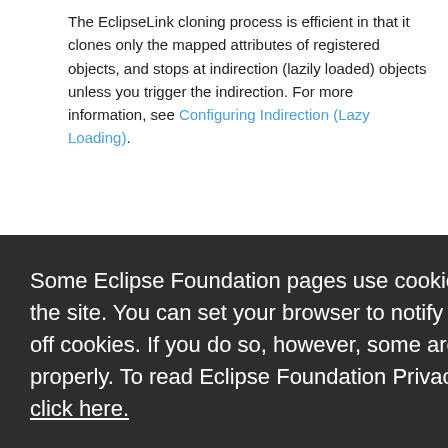The EclipseLink cloning process is efficient in that it clones only the mapped attributes of registered objects, and stops at indirection (lazily loaded) objects unless you trigger the indirection. For more information, see Configuring Indirection (Lazy Loading).
Some Eclipse Foundation pages use cookies to better serve you when you return to the site. You can set your browser to notify you before you receive a cookie or turn off cookies. If you do so, however, some areas of some sites may not function properly. To read Eclipse Foundation Privacy Policy click here.